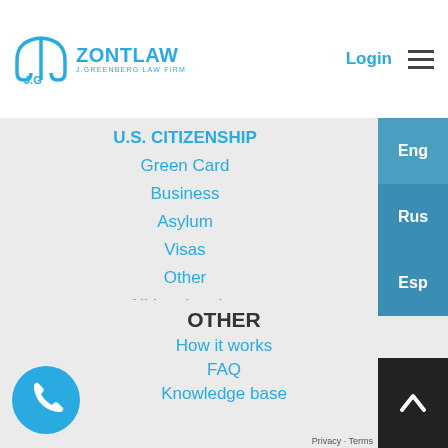[Figure (logo): ZontLaw J.Greenberg Law Firm logo with umbrella/scales icon in blue]
Login
U.S. CITIZENSHIP
Green Card
Business
Asylum
Visas
Other
All Immigration
OTHER
How it works
FAQ
Knowledge base